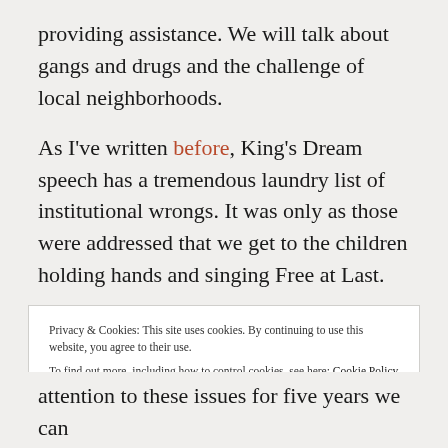providing assistance. We will talk about gangs and drugs and the challenge of local neighborhoods.
As I've written before, King's Dream speech has a tremendous laundry list of institutional wrongs. It was only as those were addressed that we get to the children holding hands and singing Free at Last.
Privacy & Cookies: This site uses cookies. By continuing to use this website, you agree to their use. To find out more, including how to control cookies, see here: Cookie Policy
Close and accept
attention to these issues for five years we can